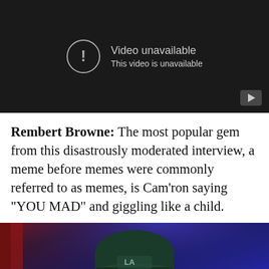[Figure (screenshot): Embedded YouTube video player showing 'Video unavailable. This video is unavailable.' message with a circular exclamation icon on a dark background, with a YouTube play button in the bottom right corner.]
Rembert Browne: The most popular gem from this disastrously moderated interview, a meme before memes were commonly referred to as memes, is Cam'ron saying "YOU MAD" and giggling like a child.
[Figure (photo): Photo of a person wearing a dark green beanie hat, partially visible, against a blue and red background.]